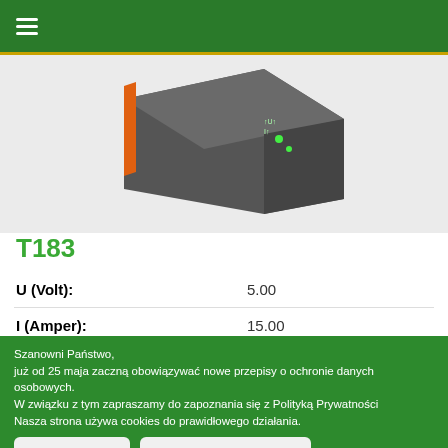≡ (hamburger menu)
[Figure (photo): Product photo of T183 device — a dark grey rectangular electronic enclosure viewed at an angle, showing green indicator LEDs and connectors on a slanted top face.]
T183
| U (Volt): | 5.00 |
| I (Amper): | 15.00 |
| Description: |  |
Szanowni Państwo,
już od 25 maja zaczną obowiązywać nowe przepisy o ochronie danych osobowych.
W związku z tym zapraszamy do zapoznania się z Polityką Prywatności
Nasza strona używa cookies do prawidłowego działania.
Zgadzam się
Polityka prywatności